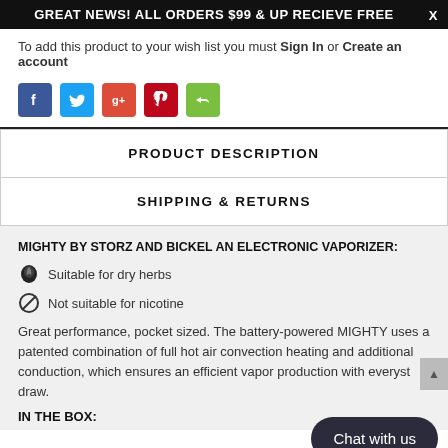GREAT NEWS! ALL ORDERS $99 & UP RECIEVE FREE
To add this product to your wish list you must Sign In or Create an account
[Figure (other): Social sharing icons: Facebook (blue), Twitter (light blue), Google+ (red), Pinterest (dark red), Share (green)]
| PRODUCT DESCRIPTION |
| SHIPPING & RETURNS |
MIGHTY BY STORZ AND BICKEL AN ELECTRONIC VAPORIZER:
Suitable for dry herbs
Not suitable for nicotine
Great performance, pocket sized. The battery-powered MIGHTY uses a patented combination of full hot air convection heating and additional conduction, which ensures an efficient vapor produ... st draw.
IN THE BOX: